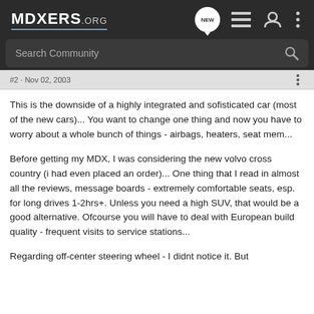MDXERS.ORG
Search Community
This is the downside of a highly integrated and sofisticated car (most of the new cars)... You want to change one thing and now you have to worry about a whole bunch of things - airbags, heaters, seat mem...
Before getting my MDX, I was considering the new volvo cross country (i had even placed an order)... One thing that I read in almost all the reviews, message boards - extremely comfortable seats, esp. for long drives 1-2hrs+. Unless you need a high SUV, that would be a good alternative. Ofcourse you will have to deal with European build quality - frequent visits to service stations...
Regarding off-center steering wheel - I didnt notice it. But